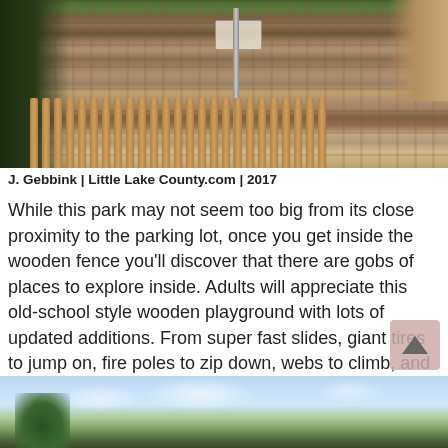[Figure (photo): Outdoor wooden playground with wooden fence, wood chip ground cover, a metal pole, and a sign on the fence. Green vegetation visible on left side. Slide visible at top right.]
J. Gebbink | Little Lake County.com | 2017
While this park may not seem too big from its close proximity to the parking lot, once you get inside the wooden fence you'll discover that there are gobs of places to explore inside. Adults will appreciate this old-school style wooden playground with lots of updated additions. From super fast slides, giant tires to jump on, fire poles to zip down, webs to climb, and monkey bars to swing on, your kids will have a blast here.
[Figure (photo): Outdoor photo showing sky with clouds and trees in the foreground, partially visible at bottom of page.]